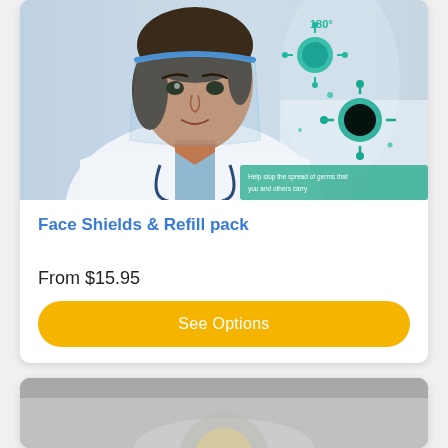[Figure (photo): A female healthcare professional wearing a blue face shield/visor, with a stethoscope around her neck, in a medical setting. Overlaid with teal/green coronavirus particle graphics and a '180°' annotation. A male doctor is visible in the background.]
Face Shields & Refill pack
From $15.95
See Options
[Figure (photo): Partial view of a second product card showing a gray background with what appears to be a product image (partially visible at bottom of page).]